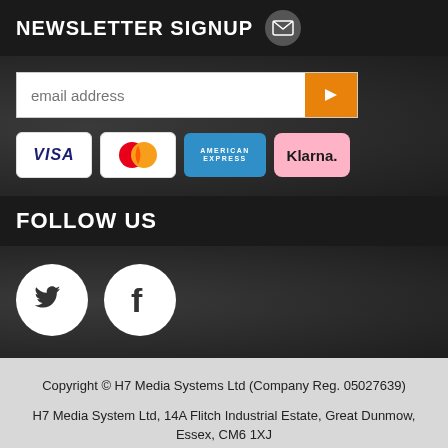NEWSLETTER SIGNUP
[Figure (infographic): Email input field with orange submit button arrow, followed by payment method badges: VISA, MasterCard, American Express, Klarna]
FOLLOW US
[Figure (infographic): Twitter and Facebook social media icons as white circles on dark background]
Copyright © H7 Media Systems Ltd (Company Reg. 05027639)
H7 Media System Ltd, 14A Flitch Industrial Estate, Great Dunmow, Essex, CM6 1XJ
E-commerce by iShop Limited